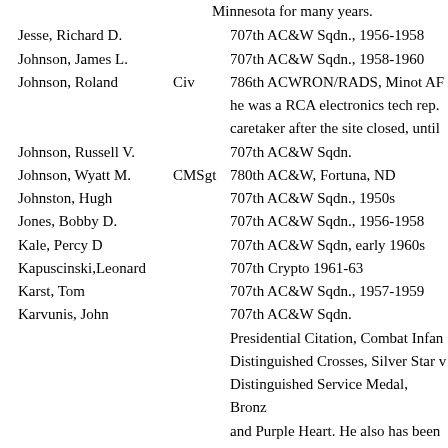Minnesota for many years.
Jesse, Richard D. | 707th AC&W Sqdn., 1956-1958
Johnson, James L. | 707th AC&W Sqdn., 1958-1960
Johnson, Roland | Civ | 786th ACWRON/RADS, Minot AF he was a RCA electronics tech rep. caretaker after the site closed, until
Johnson, Russell V. | 707th AC&W Sqdn.
Johnson, Wyatt M. | CMSgt | 780th AC&W, Fortuna, ND
Johnston, Hugh | 707th AC&W Sqdn., 1950s
Jones, Bobby D. | 707th AC&W Sqdn., 1956-1958
Kale, Percy D | 707th AC&W Sqdn, early 1960s
Kapuscinski,Leonard | 707th Crypto 1961-63
Karst, Tom | 707th AC&W Sqdn., 1957-1959
Karvunis, John | 707th AC&W Sqdn.
Presidential Citation, Combat Infan Distinguished Crosses, Silver Star v Distinguished Service Medal, Bronz and Purple Heart. He also has been second highest award, the Distingui action during the Battle for Standaa Commander of the 414th Infantry R Timberwolf Division in Germany ar first United States Infantry forces to
Kelleher, Gerald C. | BGen